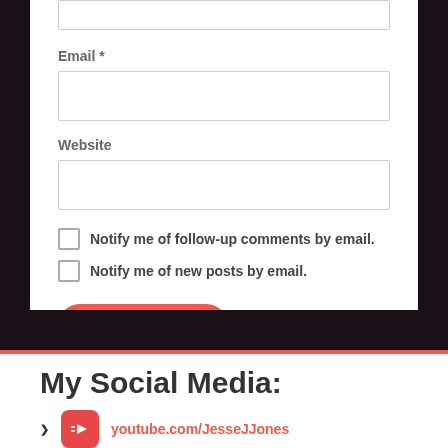Email *
Website
Notify me of follow-up comments by email.
Notify me of new posts by email.
Post Comment
My Social Media:
youtube.com/JesseJJones
twitch.tv/JesseJayJones